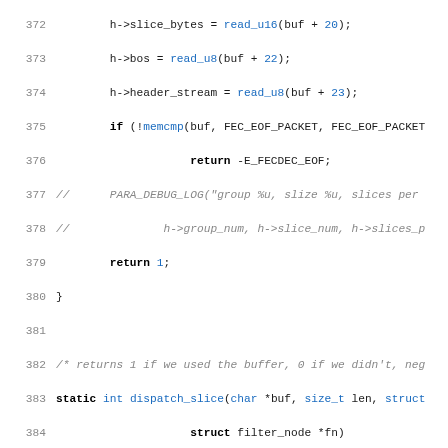[Figure (screenshot): Source code listing in C, lines 372-403, showing functions for reading buffer data and dispatch_slice function with FEC group handling logic.]